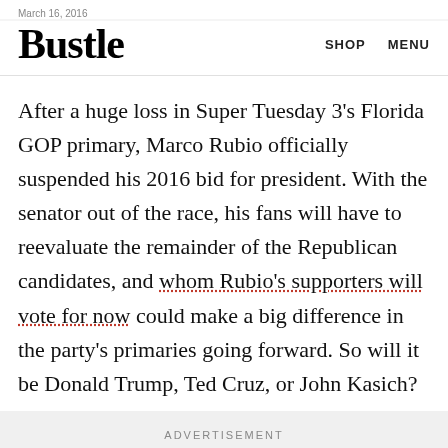March 16, 2016
Bustle
After a huge loss in Super Tuesday 3's Florida GOP primary, Marco Rubio officially suspended his 2016 bid for president. With the senator out of the race, his fans will have to reevaluate the remainder of the Republican candidates, and whom Rubio's supporters will vote for now could make a big difference in the party's primaries going forward. So will it be Donald Trump, Ted Cruz, or John Kasich?
ADVERTISEMENT